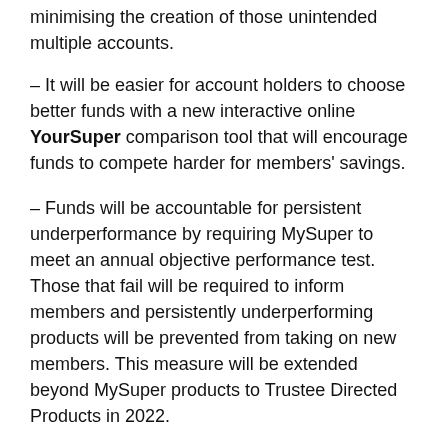minimising the creation of those unintended multiple accounts.
– It will be easier for account holders to choose better funds with a new interactive online YourSuper comparison tool that will encourage funds to compete harder for members' savings.
– Funds will be accountable for persistent underperformance by requiring MySuper to meet an annual objective performance test. Those that fail will be required to inform members and persistently underperforming products will be prevented from taking on new members. This measure will be extended beyond MySuper products to Trustee Directed Products in 2022.
– And for those of us gathered today, the element of the Your Future, Your Super package that is particularly relevant to Self-Managed Super Funds is the best financial interests duty.
Best financial interests duty